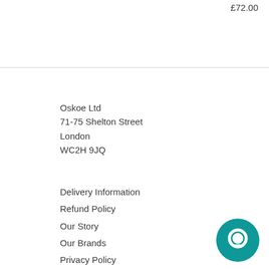£72.00
Oskoe Ltd
71-75 Shelton Street
London
WC2H 9JQ
Delivery Information
Refund Policy
Our Story
Our Brands
Privacy Policy
Terms of Service
Contact Us
[Figure (illustration): Teal circular chat bubble icon in the bottom-right corner]